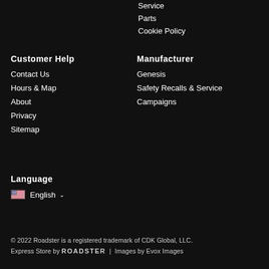Service
Parts
Cookie Policy
Customer Help
Contact Us
Hours & Map
About
Privacy
Sitemap
Manufacturer
Genesis
Safety Recalls & Service
Campaigns
Language
English
© 2022 Roadster is a registered trademark of CDK Global, LLC.
Express Store by ROADSTER  |  Images by Evox Images